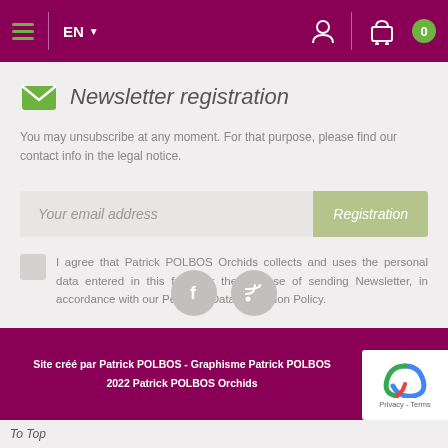EN | [menu] [user icon] [cart icon] 0
Newsletter registration
You may unsubscribe at any moment. For that purpose, please find our contact info in the legal notice.
Your email address | Registration
I agree that Patrick POLBOS Orchids collects and uses the personal data entered in this form for the purpose of sending Newsletter, in accordance with our Personal Data Protection Policy.
[Figure (illustration): Facebook and RSS feed social media icon buttons]
Site créé par Patrick POLBOS - Graphisme Patrick POLBOS - 2022 Patrick POLBOS Orchids
To Top